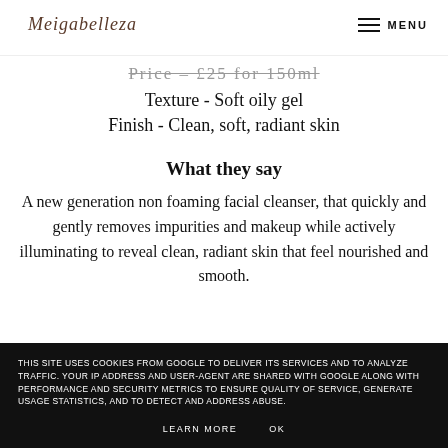Meigabelleza — MENU
Price – £25 for 150ml
Texture - Soft oily gel
Finish - Clean, soft, radiant skin
What they say
A new generation non foaming facial cleanser, that quickly and gently removes impurities and makeup while actively illuminating to reveal clean, radiant skin that feel nourished and smooth.
THIS SITE USES COOKIES FROM GOOGLE TO DELIVER ITS SERVICES AND TO ANALYZE TRAFFIC. YOUR IP ADDRESS AND USER-AGENT ARE SHARED WITH GOOGLE ALONG WITH PERFORMANCE AND SECURITY METRICS TO ENSURE QUALITY OF SERVICE, GENERATE USAGE STATISTICS, AND TO DETECT AND ADDRESS ABUSE. LEARN MORE OK